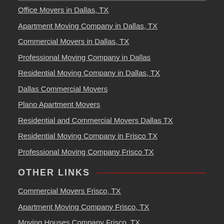Office Movers in Dallas, TX
Apartment Moving Company in Dallas, TX
Commercial Movers in Dallas, TX
Professional Moving Company in Dallas
Residential Moving Company in Dallas, TX
Dallas Commercial Movers
Plano Apartment Movers
Residential and Commercial Movers Dallas TX
Residential Moving Company in Frisco TX
Professional Moving Company Frisco TX
OTHER LINKS
Commercial Movers Frisco, TX
Apartment Moving Company Frisco, TX
Moving Houses Company Frisco, TX
Dallas Office Movers
Office Movers Frisco, TX